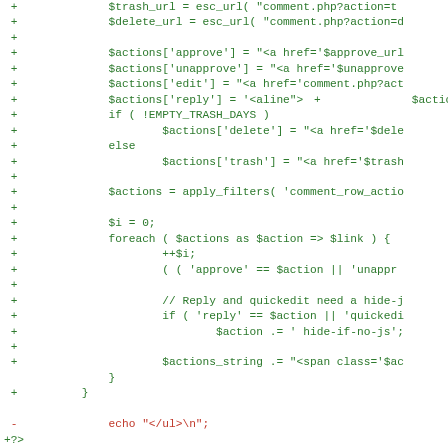[Figure (screenshot): Code diff view showing PHP code additions and deletions in green and red monospace text]